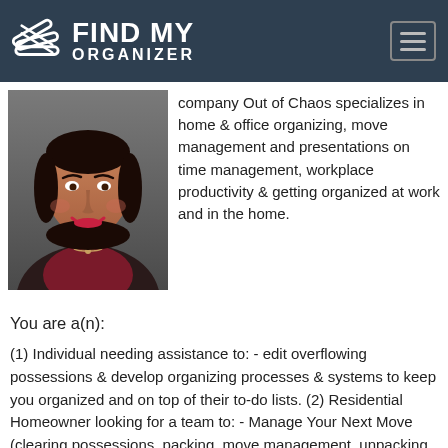FIND MY ORGANIZER
[Figure (photo): Professional headshot of a woman with dark hair, wearing a dark jacket and burgundy top with a necklace, smiling, against a gray background.]
company Out of Chaos specializes in home & office organizing, move management and presentations on time management, workplace productivity & getting organized at work and in the home.
You are a(n):
(1) Individual needing assistance to: - edit overflowing possessions & develop organizing processes & systems to keep you organized and on top of their to-do lists. (2) Residential Homeowner looking for a team to: - Manage Your Next Move (clearing possessions, packing, move management, unpacking & home set-up). (3) Small Business or Entrepreneur needing assistance: Getting